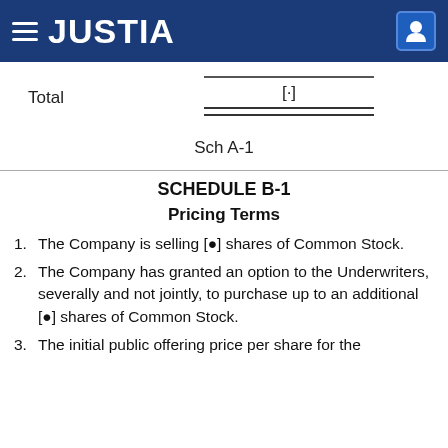JUSTIA
| Total | [·] |
| --- | --- |
Sch A-1
SCHEDULE B-1
Pricing Terms
1. The Company is selling [●] shares of Common Stock.
2. The Company has granted an option to the Underwriters, severally and not jointly, to purchase up to an additional [●] shares of Common Stock.
3. The initial public offering price per share for the